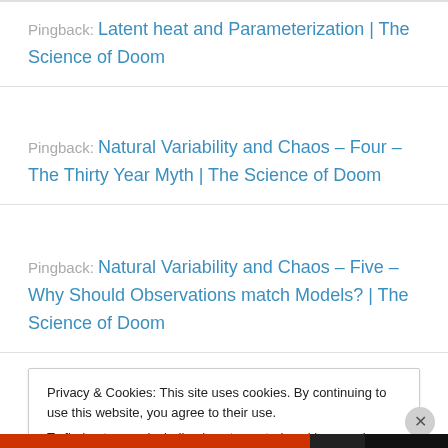Pingback: Latent heat and Parameterization | The Science of Doom
Pingback: Natural Variability and Chaos – Four – The Thirty Year Myth | The Science of Doom
Pingback: Natural Variability and Chaos – Five – Why Should Observations match Models? | The Science of Doom
Privacy & Cookies: This site uses cookies. By continuing to use this website, you agree to their use.
To find out more, including how to control cookies, see here: Cookie Policy